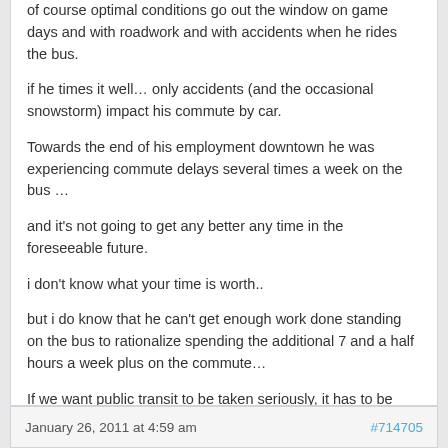of course optimal conditions go out the window on game days and with roadwork and with accidents when he rides the bus.
if he times it well… only accidents (and the occasional snowstorm) impact his commute by car.
Towards the end of his employment downtown he was experiencing commute delays several times a week on the bus …
and it's not going to get any better any time in the foreseeable future.
i don't know what your time is worth..
but i do know that he can't get enough work done standing on the bus to rationalize spending the additional 7 and a half hours a week plus on the commute…
If we want public transit to be taken seriously, it has to be both reliable and cost effective…
that's not going to happen when our only public transit options are competing with cars for space in the downtown gridlock.
January 26, 2011 at 4:59 am   #714705